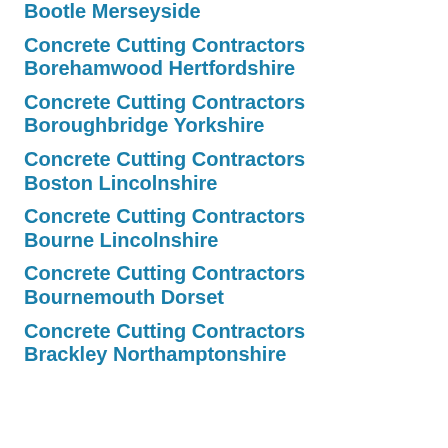Bootle Merseyside
Concrete Cutting Contractors Borehamwood Hertfordshire
Concrete Cutting Contractors Boroughbridge Yorkshire
Concrete Cutting Contractors Boston Lincolnshire
Concrete Cutting Contractors Bourne Lincolnshire
Concrete Cutting Contractors Bournemouth Dorset
Concrete Cutting Contractors Brackley Northamptonshire